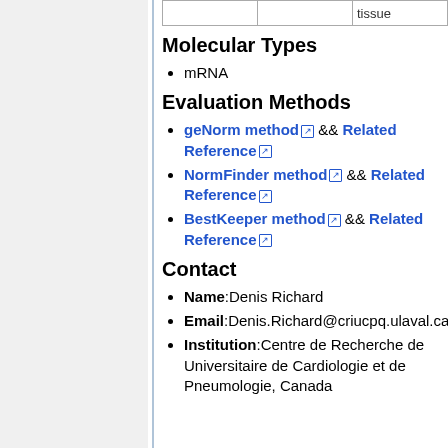|  |  | tissue |
Molecular Types
mRNA
Evaluation Methods
geNorm method && Related Reference
NormFinder method && Related Reference
BestKeeper method && Related Reference
Contact
Name:Denis Richard
Email:Denis.Richard@criucpq.ulaval.ca
Institution:Centre de Recherche de Universitaire de Cardiologie et de Pneumologie, Canada
Top ↑